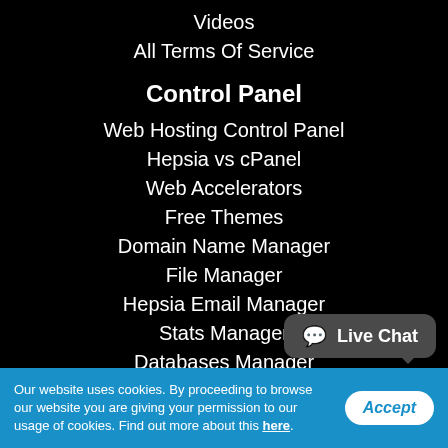Videos
All Terms Of Service
Control Panel
Web Hosting Control Panel
Hepsia vs cPanel
Web Accelerators
Free Themes
Domain Name Manager
File Manager
Hepsia Email Manager
Stats Manager
Databases Manager
Site Building Instrument
Website Installer
1 Click Framework Installer
Live Chat
Our website uses cookies. By proceeding to browse our website you are giving your permission to our usage of cookies. Find out more about this here.